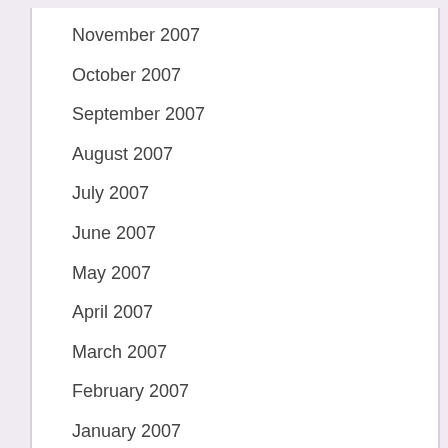November 2007
October 2007
September 2007
August 2007
July 2007
June 2007
May 2007
April 2007
March 2007
February 2007
January 2007
November 2006